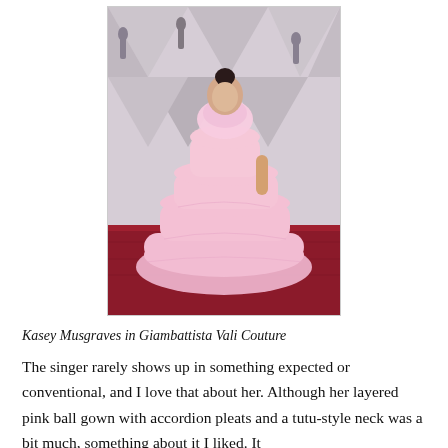[Figure (photo): Kasey Musgraves wearing a layered pink tulle ball gown with a tutu-style neckline on a red carpet at the Oscars, with geometric Oscar backdrop behind her.]
Kasey Musgraves in Giambattista Vali Couture
The singer rarely shows up in something expected or conventional, and I love that about her. Although her layered pink ball gown with accordion pleats and a tutu-style neck was a bit much, something about it I liked. It